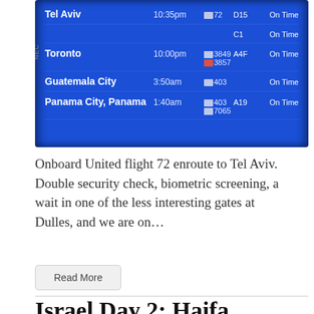[Figure (photo): Airport departure board screen showing flights: Tel Aviv 10:35pm flight 72 C1 On Time; Toronto 10:00pm flights 3849/3857 A4F On Time; Guatemala City 3:50am flight 403 On Time; Panama City, Panama 1:40am flights 403/7065 A19 On Time. Blue NEC screen with white text.]
Onboard United flight 72 enroute to Tel Aviv. Double security check, biometric screening, a wait in one of the less interesting gates at Dulles, and we are on...
Read More
Israel Day 2: Haifa